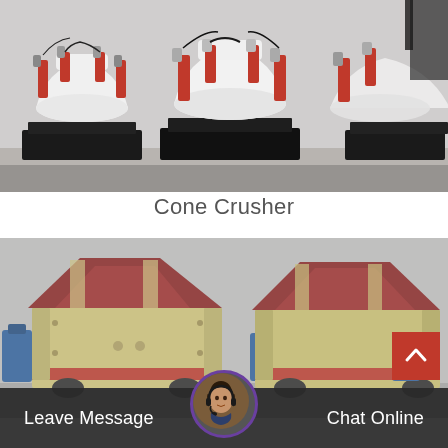[Figure (photo): Cone crusher machines with red hydraulic cylinders and white bodies on black metal frames in a factory warehouse]
Cone Crusher
[Figure (photo): Hammer mill / impact crusher machines, cream/beige colored with red stripe and dark red rooftop-shaped top sections, parked in a factory]
Leave Message  Chat Online